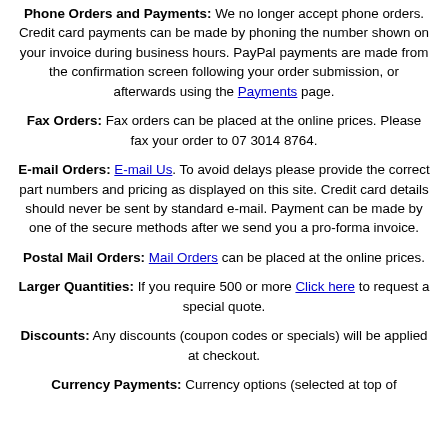Phone Orders and Payments: We no longer accept phone orders. Credit card payments can be made by phoning the number shown on your invoice during business hours. PayPal payments are made from the confirmation screen following your order submission, or afterwards using the Payments page.
Fax Orders: Fax orders can be placed at the online prices. Please fax your order to 07 3014 8764.
E-mail Orders: E-mail Us. To avoid delays please provide the correct part numbers and pricing as displayed on this site. Credit card details should never be sent by standard e-mail. Payment can be made by one of the secure methods after we send you a pro-forma invoice.
Postal Mail Orders: Mail Orders can be placed at the online prices.
Larger Quantities: If you require 500 or more Click here to request a special quote.
Discounts: Any discounts (coupon codes or specials) will be applied at checkout.
Currency Payments: Currency options (selected at top of...